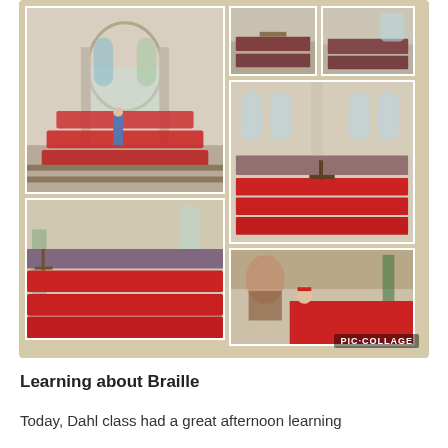[Figure (photo): Photo collage (PIC COLLAGE) showing multiple images of school children in red uniforms performing/singing in a church setting, with adults present. Six photos arranged in a grid collage with a tan/wood-textured background.]
Learning about Braille
Today, Dahl class had a great afternoon learning